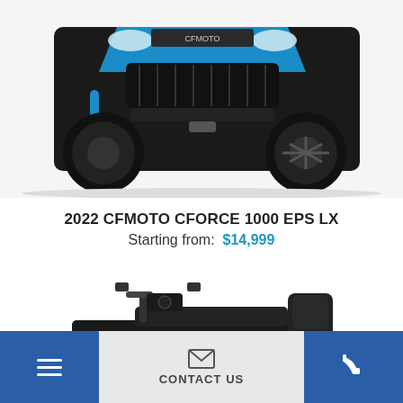[Figure (photo): Front view of a blue and black 2022 CFMOTO CFORCE 1000 EPS LX ATV with large off-road tires and blue suspension springs]
2022 CFMOTO CFORCE 1000 EPS LX
Starting from: $14,999
[Figure (photo): Side view of an orange and black CFMOTO personal watercraft / jet ski with seating and handlebar]
≡  CONTACT US  📞